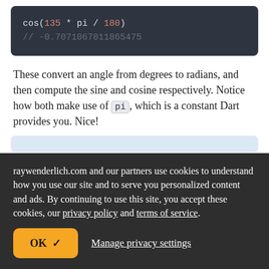[Figure (screenshot): Code block showing: cos(135 * pi / 180) followed by comment // -0.7071067811865475]
These convert an angle from degrees to radians, and then compute the sine and cosine respectively. Notice how both make use of pi, which is a constant Dart provides you. Nice!
raywenderlich.com and our partners use cookies to understand how you use our site and to serve you personalized content and ads. By continuing to use this site, you accept these cookies, our privacy policy and terms of service.